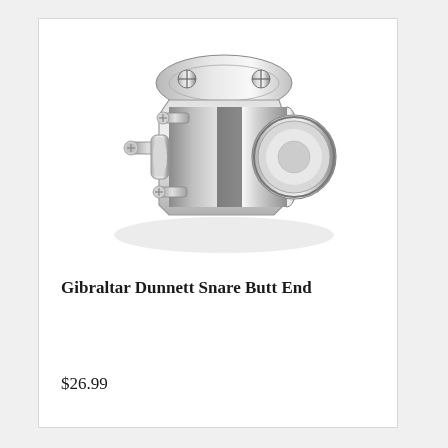[Figure (photo): A chrome/silver metal snare drum butt end hardware piece, showing a cylindrical connector with flanges, bolts and screws, photographed on a white background.]
Gibraltar Dunnett Snare Butt End
$26.99